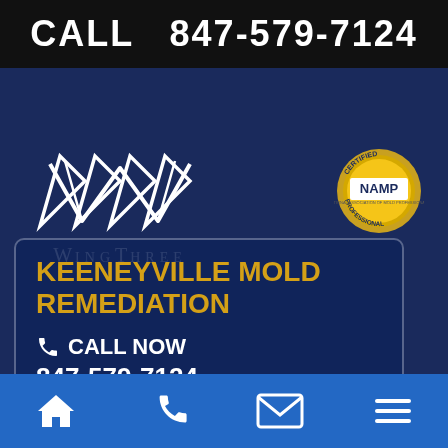CALL  847-579-7124
[Figure (logo): WingThree logo with white wing chevron marks and company name text]
[Figure (logo): CERTIFIED NAMP NATIONAL ASSOCIATION OF MOLD PROFESSIONALS PROFESSIONAL gold circular badge]
KEENEYVILLE MOLD REMEDIATION
CALL NOW 847-579-7124
Navigation bar with home, phone, email, and menu icons